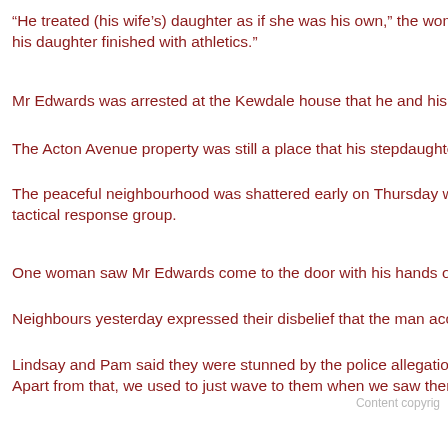“He treated (his wife’s) daughter as if she was his own,” the woman said. his daughter finished with athletics.”
Mr Edwards was arrested at the Kewdale house that he and his wife ha
The Acton Avenue property was still a place that his stepdaughter, belie
The peaceful neighbourhood was shattered early on Thursday when M tactical response group.
One woman saw Mr Edwards come to the door with his hands on his h
Neighbours yesterday expressed their disbelief that the man accused o
Lindsay and Pam said they were stunned by the police allegations. “We Apart from that, we used to just wave to them when we saw them.”
Content copyrig